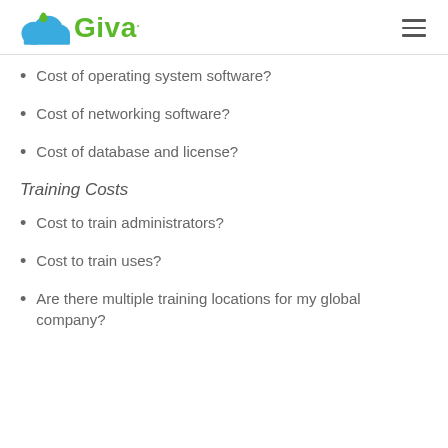Giva
Cost of operating system software?
Cost of networking software?
Cost of database and license?
Training Costs
Cost to train administrators?
Cost to train uses?
Are there multiple training locations for my global company?